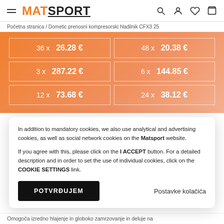MATSPORT — navigation header with hamburger menu, logo, search, account, wishlist, cart icons
Početna stranica / Dometic prenosni kompresorski hladilnik CFX3 25
[Figure (infographic): Orange gradient promo box showing installment payment options: 36x 26.28€, 48x 20.38€, 3x 287.22€, 6x 144.85€, 12x 73.68€, 24x 38.12€]
In addition to mandatory cookies, we also use analytical and advertising cookies, as well as social network cookies on the Matsport website.

If you agree with this, please click on the I ACCEPT button. For a detailed description and in order to set the use of individual cookies, click on the COOKIE SETTINGS link.
POTVRĐUJEM
Postavke kolačića
Omogoča izredno hlajenje in globoko zamrzovanje in deluje na